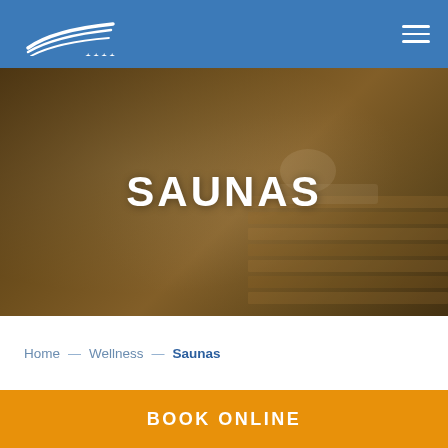Hotel logo and navigation menu
[Figure (photo): Person relaxing in a sauna on wooden benches, warm brown tones with dark overlay, hero background image]
SAUNAS
Home — Wellness — Saunas
BOOK ONLINE